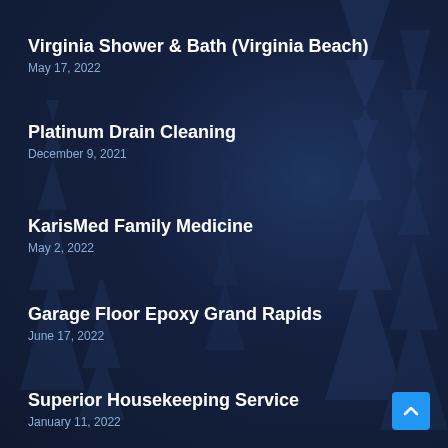Virginia Shower & Bath (Virginia Beach)
May 17, 2022
Platinum Drain Cleaning
December 9, 2021
KarisMed Family Medicine
May 2, 2022
Garage Floor Epoxy Grand Rapids
June 17, 2022
Superior Housekeeping Service
January 11, 2022